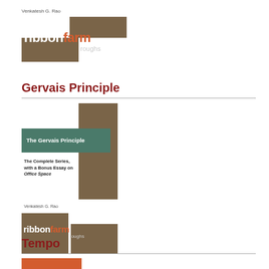[Figure (logo): Ribbonfarm Roughs logo with author name Venkatesh G. Rao, brown and white squares with ribbonfarm in white/orange and roughs in gray]
Gervais Principle
[Figure (illustration): Book cover for The Gervais Principle: The Complete Series, with a Bonus Essay on Office Space by Venkatesh G. Rao. Ribbonfarm Roughs branding. Teal and brown squares design.]
Tempo